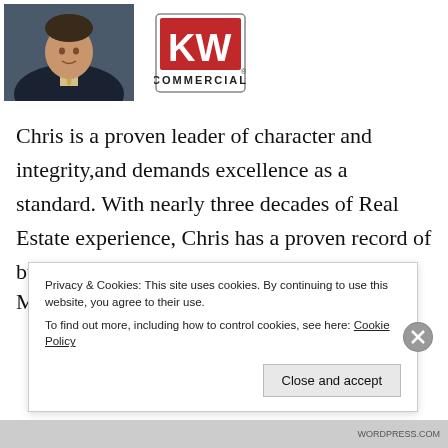[Figure (photo): Professional headshot of a man in a dark suit with a gold tie, against a dark background]
[Figure (logo): KW Commercial logo — red rectangle with white KW letters and COMMERCIAL text below]
Chris is a proven leader of character and integrity,and demands excellence as a standard. With nearly three decades of Real Estate experience, Chris has a proven record of building successful transactions across Mi...
Privacy & Cookies: This site uses cookies. By continuing to use this website, you agree to their use.
To find out more, including how to control cookies, see here: Cookie Policy
Close and accept